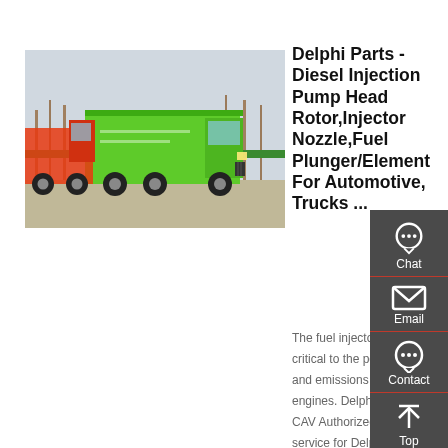[Figure (photo): Green heavy-duty trucks parked in a yard, with bare trees in the background and a green fence visible.]
Delphi Parts - Diesel Injection Pump Head Rotor,Injector Nozzle,Fuel Plunger/Element For Automotive, Trucks ...
The fuel injector nozzle is critical to the performance and emissions of diesel engines. Delphi – Lucas – CAV Authorized sales and service for Delphi diesel fuel injection pumps, a delphi diesel injector nozzle